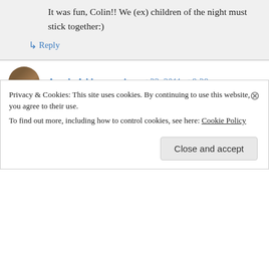It was fun, Colin!! We (ex) children of the night must stick together:)
↳ Reply
Angela Addams on August 22, 2011 at 9:28 am
Excellent interview you two! Love the pictures! Anne – I would have idealized you as a teen…so naturally gothic, with your black locks and decadent attire. Colin, well, what can I say…so
Privacy & Cookies: This site uses cookies. By continuing to use this website, you agree to their use.
To find out more, including how to control cookies, see here: Cookie Policy
Close and accept